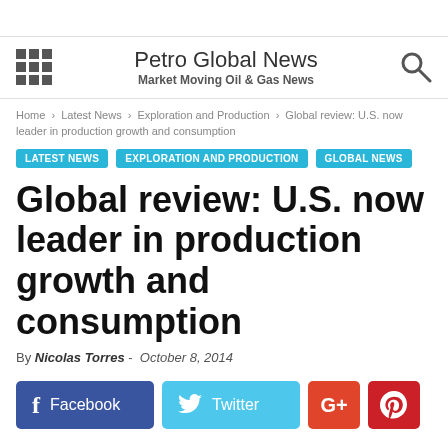Petro Global News — Market Moving Oil & Gas News
Home > Latest News > Exploration and Production > Global review: U.S. now leader in production growth and consumption
LATEST NEWS   EXPLORATION AND PRODUCTION   GLOBAL NEWS
Global review: U.S. now leader in production growth and consumption
By Nicolas Torres - October 8, 2014
[Figure (other): Social sharing buttons: Facebook, Twitter, Google+, Pinterest]